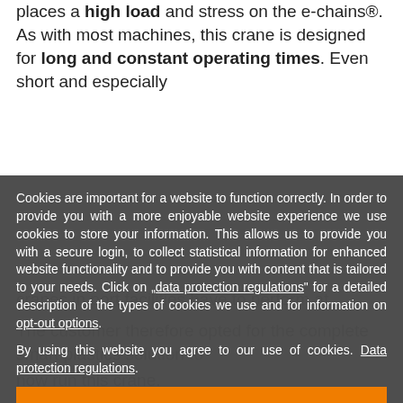places a high load and stress on the e-chains®. As with most machines, this crane is designed for long and constant operating times. Even short and especially
Cookies are important for a website to function correctly. In order to provide you with a more enjoyable website experience we use cookies to store your information. This allows us to provide you with a secure login, to collect statistical information for enhanced website functionality and to provide you with content that is tailored to your needs. Click on „data protection regulations" for a detailed description of the types of cookies we use and for information on opt-out options.
By using this website you agree to our use of cookies. Data protection regulations.
I agree.